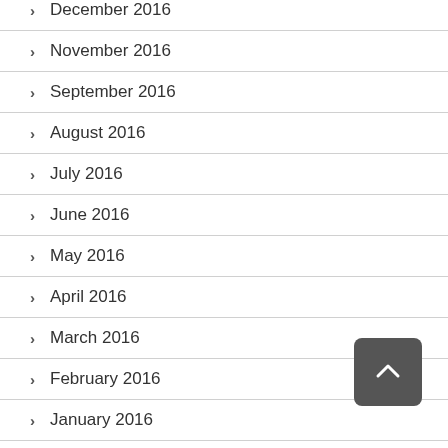December 2016
November 2016
September 2016
August 2016
July 2016
June 2016
May 2016
April 2016
March 2016
February 2016
January 2016
December 2015